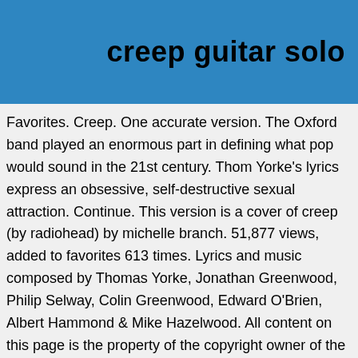creep guitar solo
Favorites. Creep. One accurate version. The Oxford band played an enormous part in defining what pop would sound in the 21st century. Thom Yorke's lyrics express an obsessive, self-destructive sexual attraction. Continue. This version is a cover of creep (by radiohead) by michelle branch. 51,877 views, added to favorites 613 times. Lyrics and music composed by Thomas Yorke, Jonathan Greenwood, Philip Selway, Colin Greenwood, Edward O'Brien, Albert Hammond & Mike Hazelwood. All content on this page is the property of the copyright owner of the original composition. Recommended by The Wall Street Journal. Songs. Sheet music arranged for Piano/Vocal/Guitar in G Major (transposable). Favorites. Creep tab by Radiohead. Browse our 26 arrangements of "Creep." One of the most memorable part from this song is the huge crushing guitar sound, that many generation